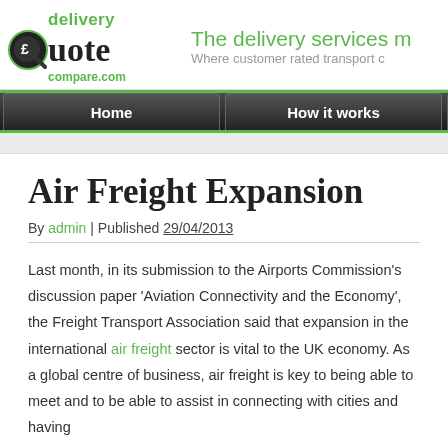[Figure (logo): DeliveryQuoteCompare.com logo with green magnifying glass icon and pound sign]
The delivery services m
Where customer rated transport c
Home | How it works | G
Air Freight Expansion
By admin | Published 29/04/2013
Last month, in its submission to the Airports Commission's discussion paper 'Aviation Connectivity and the Economy', the Freight Transport Association said that expansion in the international air freight sector is vital to the UK economy. As a global centre of business, air freight is key to being able to meet and to be able to assist in connecting with cities and having